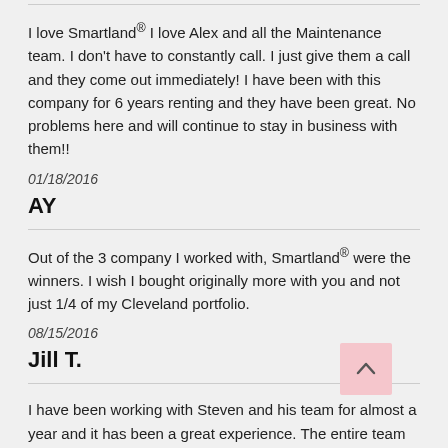I love Smartland® I love Alex and all the Maintenance team. I don't have to constantly call. I just give them a call and they come out immediately! I have been with this company for 6 years renting and they have been great. No problems here and will continue to stay in business with them!!
01/18/2016
AY
Out of the 3 company I worked with, Smartland® were the winners. I wish I bought originally more with you and not just 1/4 of my Cleveland portfolio.
08/15/2016
Jill T.
I have been working with Steven and his team for almost a year and it has been a great experience. The entire team has been very responsive to all of my questions and the communication is great. Steven is thorough and